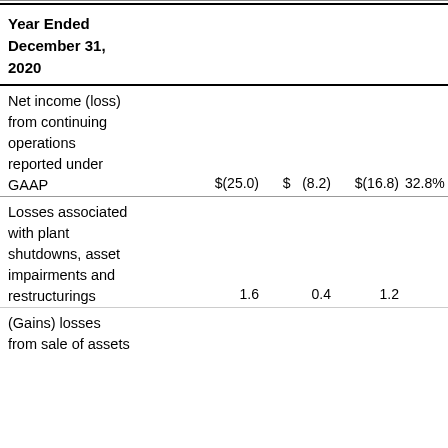| Year Ended December 31, 2020 |  |  |  |  |
| --- | --- | --- | --- | --- |
| Net income (loss) from continuing operations reported under GAAP | $(25.0) | $  (8.2) | $(16.8) | 32.8% |
| Losses associated with plant shutdowns, asset impairments and restructurings | 1.6 | 0.4 | 1.2 |  |
| (Gains) losses from sale of assets |  |  |  |  |